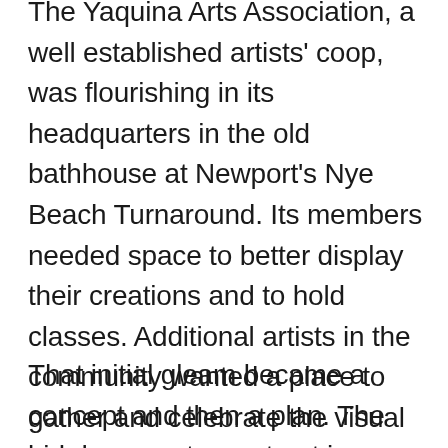The Yaquina Arts Association, a well established artists' coop, was flourishing in its headquarters in the old bathhouse at Newport's Nye Beach Turnaround. Its members needed space to better display their creations and to hold classes. Additional artists in the community wanted a place to gather and celebrate the visual arts. The Newport Urban Renewal Agency had land and funding options.
That initial gleam became a concept and then a plan. The bid documents went out in October 1982 and construction